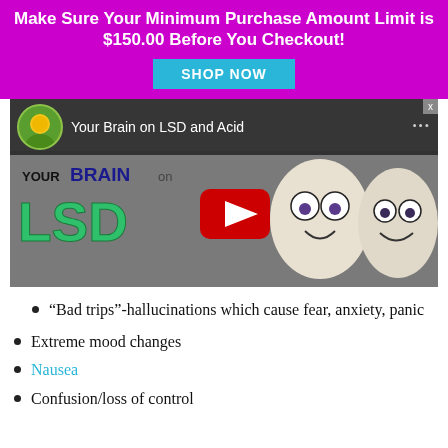Make Sure Your Minimum Purchase Amount Limit is $150.00 Before You Checkout!
SHOP NOW
[Figure (screenshot): YouTube video thumbnail titled 'Your Brain on LSD and Acid' showing cartoon characters with psychedelic imagery and the text 'YOUR BRAIN ON LSD' with a red YouTube play button]
“Bad trips”-hallucinations which cause fear, anxiety, panic
Extreme mood changes
Nausea
Confusion/loss of control